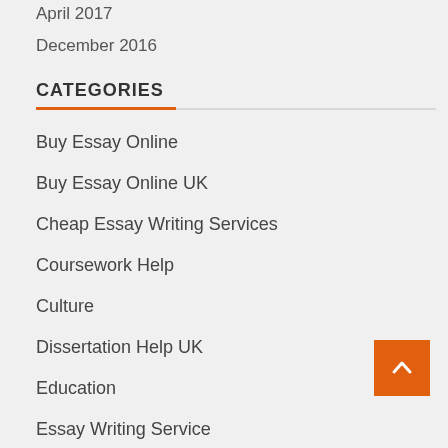April 2017
December 2016
CATEGORIES
Buy Essay Online
Buy Essay Online UK
Cheap Essay Writing Services
Coursework Help
Culture
Dissertation Help UK
Education
Essay Writing Service